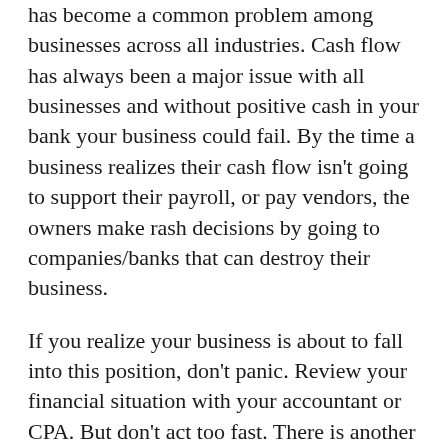has become a common problem among businesses across all industries. Cash flow has always been a major issue with all businesses and without positive cash in your bank your business could fail. By the time a business realizes their cash flow isn't going to support their payroll, or pay vendors, the owners make rash decisions by going to companies/banks that can destroy their business.
If you realize your business is about to fall into this position, don't panic. Review your financial situation with your accountant or CPA. But don't act too fast. There is another option.
So what can you do to avoid this problem?
Before telling you the solution, let's talk about the 3 things you should NOT do.